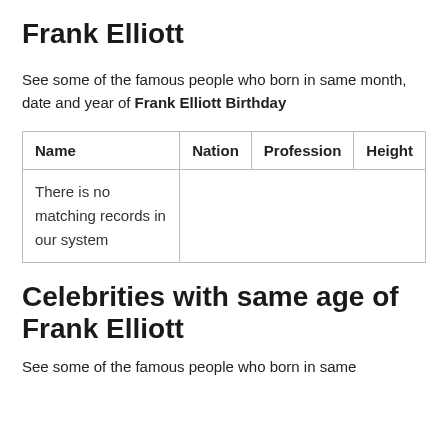Frank Elliott
See some of the famous people who born in same month, date and year of Frank Elliott Birthday
| Name | Nation | Profession | Height |
| --- | --- | --- | --- |
| There is no matching records in our system |  |  |  |
Celebrities with same age of Frank Elliott
See some of the famous people who born in same